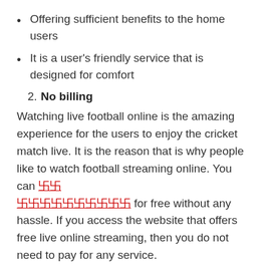Offering sufficient benefits to the home users
It is a user's friendly service that is designed for comfort
2. No billing
Watching live football online is the amazing experience for the users to enjoy the cricket match live. It is the reason that is why people like to watch football streaming online. You can [link text] for free without any hassle. If you access the website that offers free live online streaming, then you do not need to pay for any service.
3. Remote Activate control